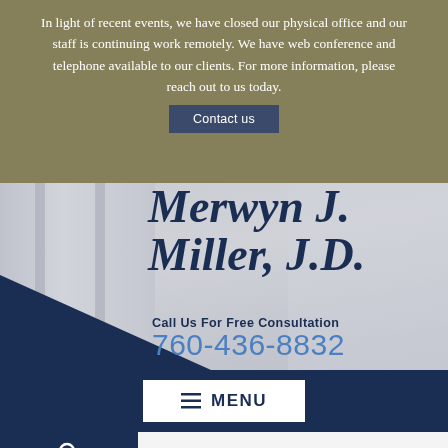In light of recent events, we have closed our physical office and our staff is continuing work remotely. We have web conference and telephone available to our clients. For more information, please reach out to us today.
Contact us
Merwyn J. Miller, J.D.
Call Us For Free Consultation
760-436-8832
[Figure (screenshot): Website header with navy MENU button and search icon, law firm website navigation bar]
Recent Posts